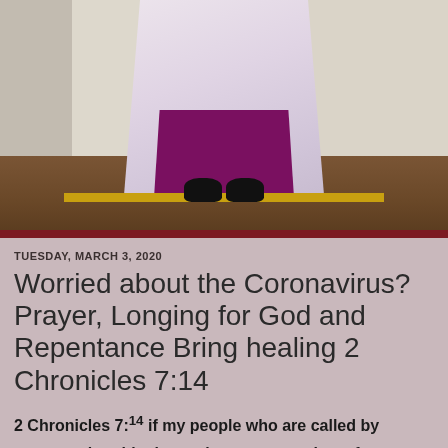[Figure (photo): Photograph of a priest in white lace vestments over purple/magenta liturgical robes, standing in front of a decorative tiled/patterned wall background. Only the lower portion of the figure is visible from roughly the waist down, showing black shoes on a wooden floor. A gold bar is visible at the hem.]
TUESDAY, MARCH 3, 2020
Worried about the Coronavirus? Prayer, Longing for God and Repentance Bring healing 2 Chronicles 7:14
2 Chronicles 7:14 if my people who are called by
my name humble themselves, pray, seek my face